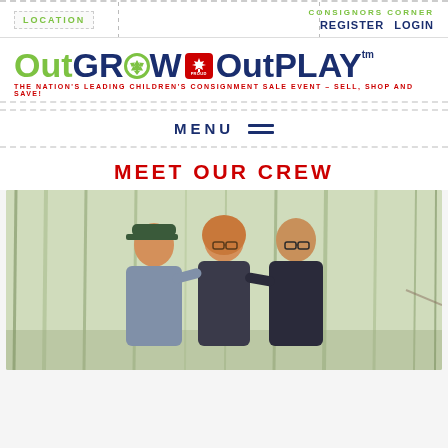LOCATION | CONSIGNORS CORNER | REGISTER | LOGIN
OutGROW OutPLAY TM - THE NATION'S LEADING CHILDREN'S CONSIGNMENT SALE EVENT - SELL, SHOP AND SAVE!
MENU
MEET OUR CREW
[Figure (photo): Three people smiling outdoors in a forested area. A young person on the left wearing a cap and hoodie, a woman in the middle with curly hair and glasses, and a young man on the right wearing glasses and a dark jacket.]